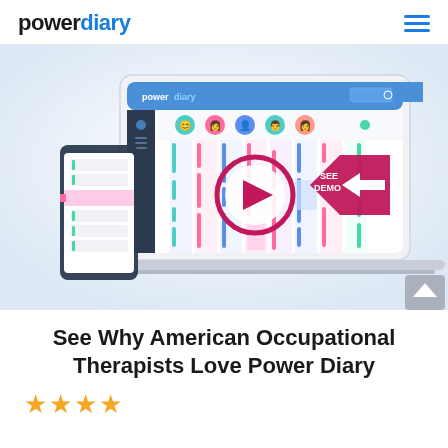powerdiary
[Figure (screenshot): Power Diary app screenshot showing a scheduling calendar on laptop and mobile device with a play button overlay and 'SEE DEMO' arrow badge]
See Why American Occupational Therapists Love Power Diary
★★★★